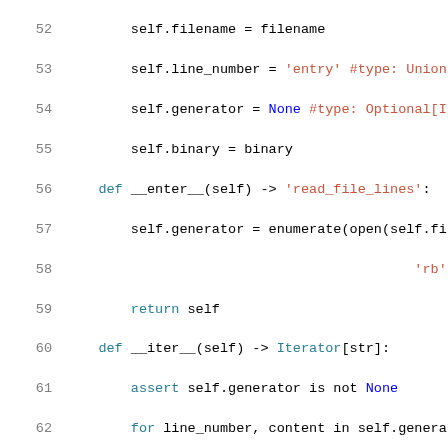[Figure (screenshot): Python source code snippet showing lines 52-72 of a file with syntax highlighting. Lines include class constructor assignments, __enter__, __iter__, __exit__ methods, and a new class definition PSAMacroEnumerator.]